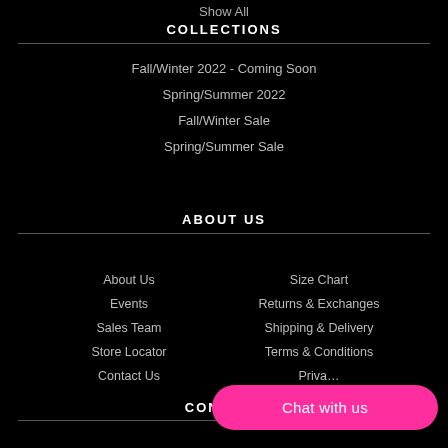Show All
COLLECTIONS
Fall/Winter 2022 - Coming Soon
Spring/Summer 2022
Fall/Winter Sale
Spring/Summer Sale
ABOUT US
About Us
Events
Sales Team
Store Locator
Contact Us
Size Chart
Returns & Exchanges
Shipping & Delivery
Terms & Conditions
Priva…
CONNECT
Chat with us